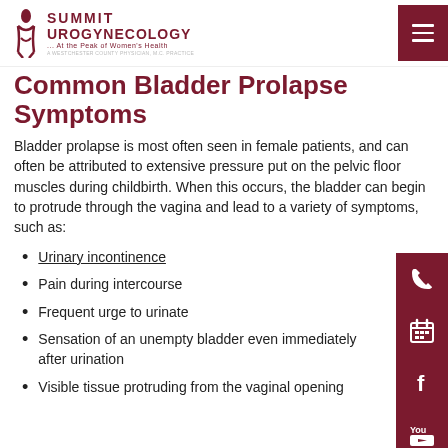Summit Urogynecology ... At the Peak of Women's Health
Common Bladder Prolapse Symptoms
Bladder prolapse is most often seen in female patients, and can often be attributed to extensive pressure put on the pelvic floor muscles during childbirth. When this occurs, the bladder can begin to protrude through the vagina and lead to a variety of symptoms, such as:
Urinary incontinence
Pain during intercourse
Frequent urge to urinate
Sensation of an unempty bladder even immediately after urination
Visible tissue protruding from the vaginal opening